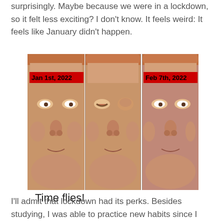surprisingly. Maybe because we were in a lockdown, so it felt less exciting? I don't know. It feels weird: It feels like January didn't happen.
[Figure (photo): A three-panel meme showing the same man's face from slightly different angles. The left panel is labeled 'Jan 1st, 2022' in a red banner, the right panel is labeled 'Feb 7th, 2022' in a red banner, and the middle panel shows the man with his eye closed/blinking.]
Time flies!
I'll admit that lockdown had its perks. Besides studying, I was able to practice new habits since I had a lot of extra time. However, with school going back in